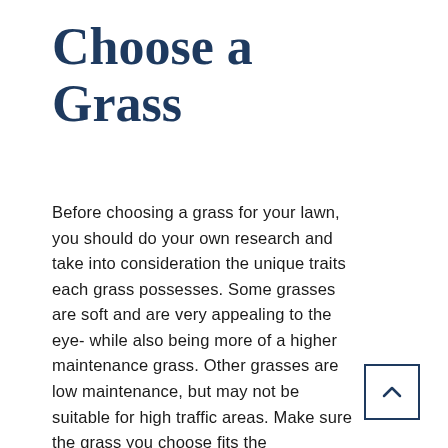Choose a Grass
Before choosing a grass for your lawn, you should do your own research and take into consideration the unique traits each grass possesses. Some grasses are soft and are very appealing to the eye- while also being more of a higher maintenance grass. Other grasses are low maintenance, but may not be suitable for high traffic areas. Make sure the grass you choose fits the environment and climate you live in, and matches the amount of maintenance and time you are able to put into it.